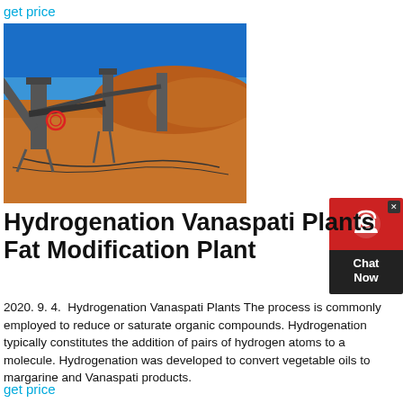get price
[Figure (photo): Industrial conveyor belt and crushing plant equipment on a red sandy terrain under a blue sky]
[Figure (other): Chat Now widget with red background and headset icon]
Hydrogenation Vanaspati Plants Fat Modification Plant
2020. 9. 4.  Hydrogenation Vanaspati Plants The process is commonly employed to reduce or saturate organic compounds. Hydrogenation typically constitutes the addition of pairs of hydrogen atoms to a molecule. Hydrogenation was developed to convert vegetable oils to margarine and Vanaspati products.
get price